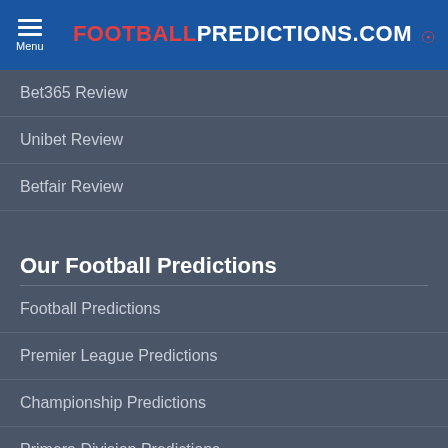FOOTBALLPREDICTIONS.COM
Bet365 Review
Unibet Review
Betfair Review
Our Football Predictions
Football Predictions
Premier League Predictions
Championship Predictions
Primera Division Predictions
Serie A Predictions